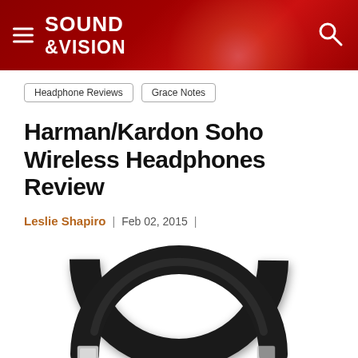SOUND &VISION
Headphone Reviews
Grace Notes
Harman/Kardon Soho Wireless Headphones Review
Leslie Shapiro | Feb 02, 2015 |
[Figure (photo): Harman/Kardon Soho wireless headphones shown from front, black circular over-ear headband with chrome hinge detail, white background]